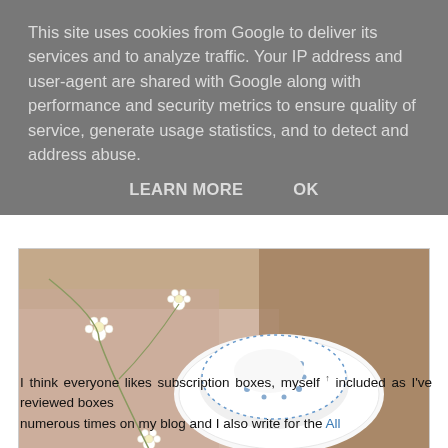This site uses cookies from Google to deliver its services and to analyze traffic. Your IP address and user-agent are shared with Google along with performance and security metrics to ensure quality of service, generate usage statistics, and to detect and address abuse.
LEARN MORE   OK
[Figure (photo): A blue and white ceramic bowl/dish with small white flowers on a light pink fabric background with a ribbon]
I think everyone likes subscription boxes, myself included as I've reviewed boxes numerous times on my blog and I also write for the All